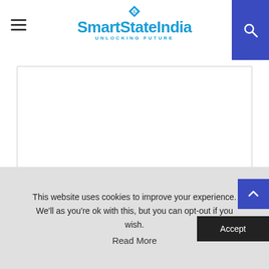SmartStateIndia — UNLOCKING FUTURE
[Figure (screenshot): Website comment form with textarea, Name, Email, Website input fields, and a checkbox for saving info in browser]
Save my name, email, and website in this browser for the next time I comment.
This website uses cookies to improve your experience. We'll as you're ok with this, but you can opt-out if you wish.
Accept
Read More